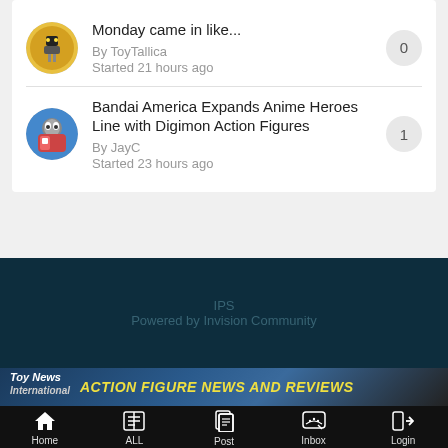Monday came in like... By ToyTallica Started 21 hours ago — 0 replies
Bandai America Expands Anime Heroes Line with Digimon Action Figures By JayC Started 23 hours ago — 1 reply
IPS
Powered by Invision Community
[Figure (logo): Toy News International logo with ACTION FIGURE NEWS AND REVIEWS tagline in yellow italic text on dark blue background]
Home | ALL | Post | Inbox | Login